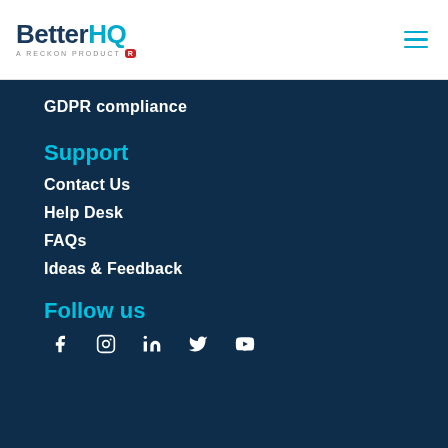[Figure (logo): BetterHQ logo - a Reckon product, with hamburger menu icon]
GDPR compliance
Support
Contact Us
Help Desk
FAQs
Ideas & Feedback
Follow us
[Figure (illustration): Social media icons: Facebook, Instagram, LinkedIn, Twitter/X, YouTube]